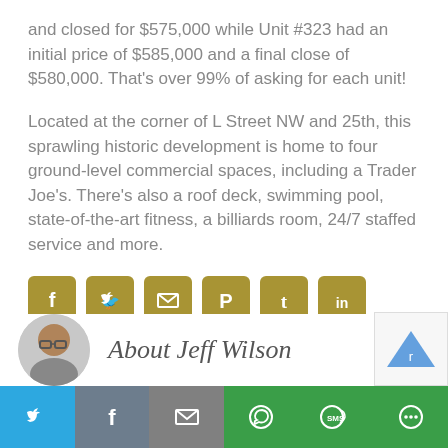and closed for $575,000 while Unit #323 had an initial price of $585,000 and a final close of $580,000. That's over 99% of asking for each unit!
Located at the corner of L Street NW and 25th, this sprawling historic development is home to four ground-level commercial spaces, including a Trader Joe's. There's also a roof deck, swimming pool, state-of-the-art fitness, a billiards room, 24/7 staffed service and more.
[Figure (infographic): Row of 6 social share icon buttons (Facebook, Twitter, Email, Pinterest, Tumblr, LinkedIn) with gold/tan background]
[Figure (photo): Author photo of Jeff Wilson, circular headshot, man with glasses]
About Jeff Wilson
[Figure (infographic): Bottom sharing bar with Twitter, Facebook, Email, WhatsApp, SMS, and more buttons in blue, gray, and green]